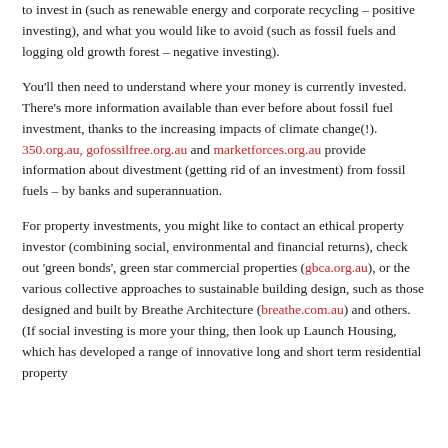to invest in (such as renewable energy and corporate recycling – positive investing), and what you would like to avoid (such as fossil fuels and logging old growth forest – negative investing).
You'll then need to understand where your money is currently invested. There's more information available than ever before about fossil fuel investment, thanks to the increasing impacts of climate change(!). 350.org.au, gofossilfree.org.au and marketforces.org.au provide information about divestment (getting rid of an investment) from fossil fuels – by banks and superannuation.
For property investments, you might like to contact an ethical property investor (combining social, environmental and financial returns), check out 'green bonds', green star commercial properties (gbca.org.au), or the various collective approaches to sustainable building design, such as those designed and built by Breathe Architecture (breathe.com.au) and others. (If social investing is more your thing, then look up Launch Housing, which has developed a range of innovative long and short term residential property